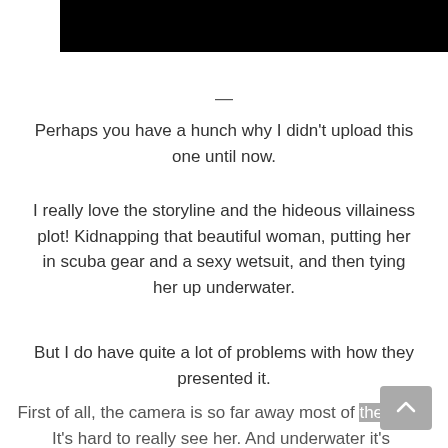[Figure (other): Black rectangle bar at the top of the page]
—
Perhaps you have a hunch why I didn't upload this one until now.
I really love the storyline and the hideous villainess plot! Kidnapping that beautiful woman, putting her in scuba gear and a sexy wetsuit, and then tying her up underwater.
But I do have quite a lot of problems with how they presented it.
First of all, the camera is so far away most of the time! It's hard to really see her. And underwater it's